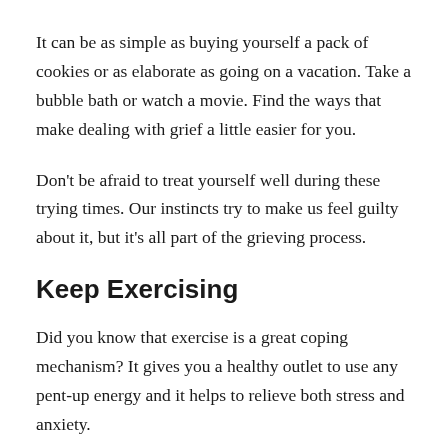It can be as simple as buying yourself a pack of cookies or as elaborate as going on a vacation. Take a bubble bath or watch a movie. Find the ways that make dealing with grief a little easier for you.
Don't be afraid to treat yourself well during these trying times. Our instincts try to make us feel guilty about it, but it's all part of the grieving process.
Keep Exercising
Did you know that exercise is a great coping mechanism? It gives you a healthy outlet to use any pent-up energy and it helps to relieve both stress and anxiety.
This is why many people suggest exercise as a way to get